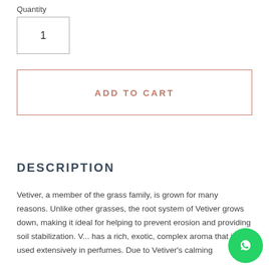Quantity
1
ADD TO CART
DESCRIPTION
Vetiver, a member of the grass family, is grown for many reasons. Unlike other grasses, the root system of Vetiver grows down, making it ideal for helping to prevent erosion and providing soil stabilization. Vetiver has a rich, exotic, complex aroma that is used extensively in perfumes. Due to Vetiver's calming
[Figure (logo): WhatsApp green circular button with phone/chat icon]